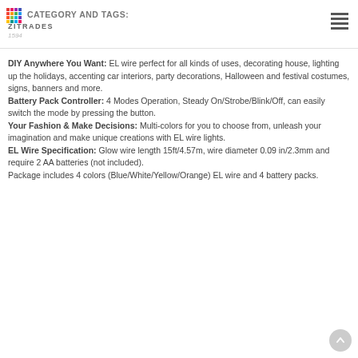CATEGORY AND TAGS: ZITRADES
DIY Anywhere You Want: EL wire perfect for all kinds of uses, decorating house, lighting up the holidays, accenting car interiors, party decorations, Halloween and festival costumes, signs, banners and more. Battery Pack Controller: 4 Modes Operation, Steady On/Strobe/Blink/Off, can easily switch the mode by pressing the button. Your Fashion & Make Decisions: Multi-colors for you to choose from, unleash your imagination and make unique creations with EL wire lights. EL Wire Specification: Glow wire length 15ft/4.57m, wire diameter 0.09 in/2.3mm and require 2 AA batteries (not included). Package includes 4 colors (Blue/White/Yellow/Orange) EL wire and 4 battery packs.